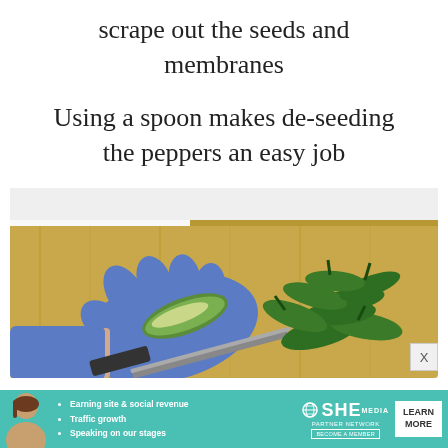scrape out the seeds and membranes
Using a spoon makes de-seeding the peppers an easy job
[Figure (photo): A gloved hand (blue latex glove) holding a halved jalapeño pepper on a wooden cutting board, with several whole green jalapeño peppers visible in the background on the same board.]
[Figure (infographic): Advertisement banner for SHE Partner Network with bullet points: Earning site & social revenue, Traffic growth, Speaking on our stages. Includes SHE logo and LEARN MORE button.]